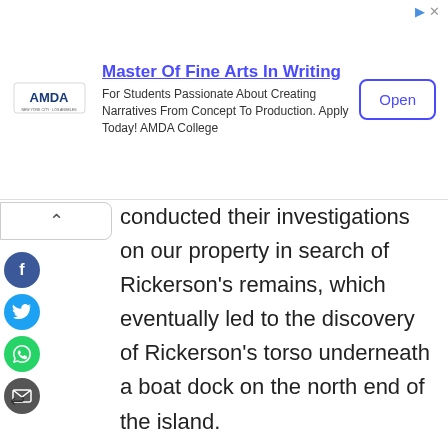[Figure (other): AMDA advertisement banner: Master Of Fine Arts In Writing. For Students Passionate About Creating Narratives From Concept To Production. Apply Today! AMDA College. Open button.]
conducted their investigations on our property in search of Rickerson's remains, which eventually led to the discovery of Rickerson's torso underneath a boat dock on the north end of the island.
Our restaurant, marina, and surrounding property are available for filming the Showtime series based upon these events. Please feel free to contact us to make arrangements.